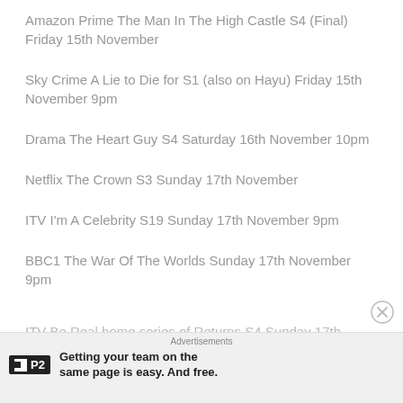Amazon Prime The Man In The High Castle S4 (Final) Friday 15th November
Sky Crime A Lie to Die for S1 (also on Hayu) Friday 15th November 9pm
Drama The Heart Guy S4 Saturday 16th November 10pm
Netflix The Crown S3 Sunday 17th November
ITV I'm A Celebrity S19 Sunday 17th November 9pm
BBC1 The War Of The Worlds Sunday 17th November 9pm
ITV Be Real home series of Returns S4 Sunday 17th
Advertisements
Getting your team on the same page is easy. And free.